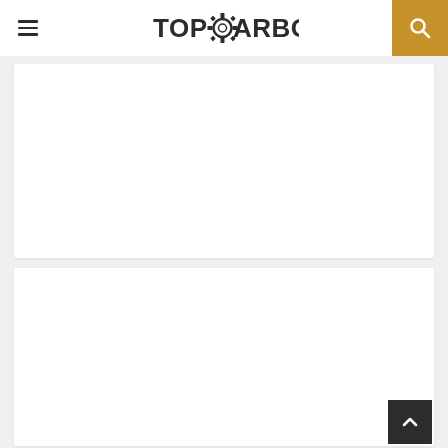TopGearBox
[Figure (other): White content card area 1 - blank white rectangle]
[Figure (other): White content card area 2 - blank white rectangle with back-to-top button in bottom right corner]